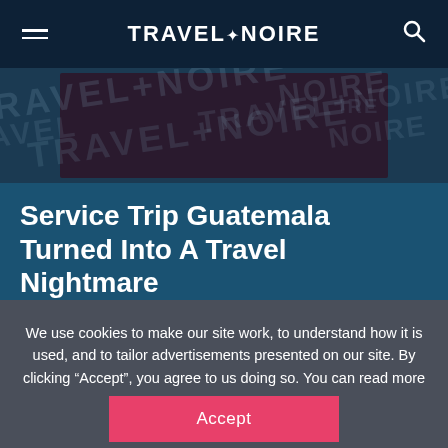TRAVEL+NOIRE
[Figure (photo): Travel Noire branded image with watermark text overlay showing dark photo background]
Service Trip Guatemala Turned Into A Travel Nightmare
We use cookies to make our site work, to understand how it is used, and to tailor advertisements presented on our site. By clicking “Accept”, you agree to us doing so. You can read more by clicking on our privacy policy here.
Accept